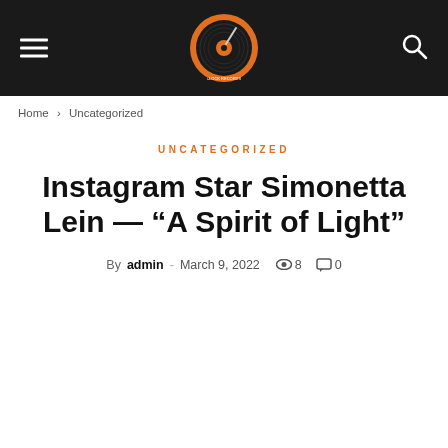Header with logo, hamburger menu, and search icon
Home › Uncategorized
UNCATEGORIZED
Instagram Star Simonetta Lein — “A Spirit of Light”
By admin - March 9, 2022  8  0